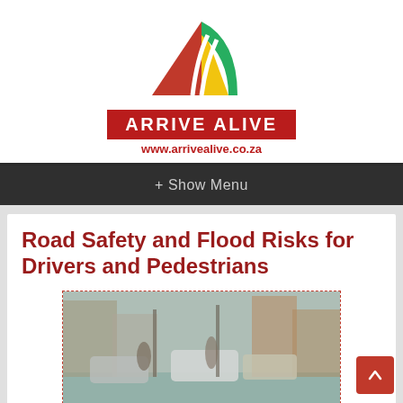[Figure (logo): Arrive Alive logo with red, yellow and green road/triangle graphic above a red banner reading ARRIVE ALIVE and website www.arrivealive.co.za]
+ Show Menu
Road Safety and Flood Risks for Drivers and Pedestrians
[Figure (photo): Blurry photo of cars and pedestrians in a flooded urban street scene]